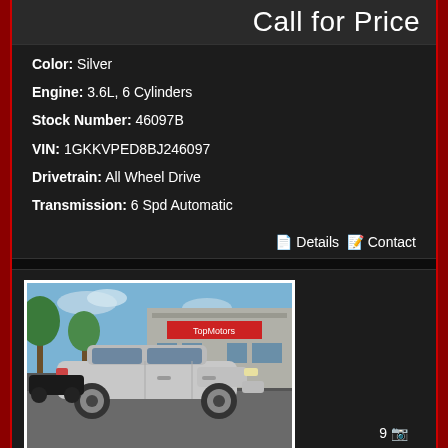Call for Price
Color: Silver
Engine: 3.6L, 6 Cylinders
Stock Number: 46097B
VIN: 1GKKVPED8BJ246097
Drivetrain: All Wheel Drive
Transmission: 6 Spd Automatic
Details  Contact
[Figure (photo): Silver SUV (Honda CR-V) parked in front of a car dealership building with trees and blue sky visible]